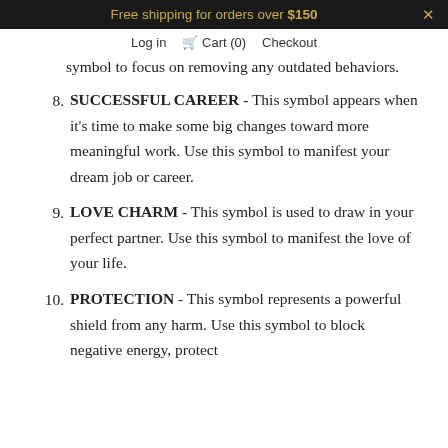Free shipping for orders over $150  ×
Log in  Cart (0)  Checkout
symbol to focus on removing any outdated behaviors.
8. SUCCESSFUL CAREER - This symbol appears when it's time to make some big changes toward more meaningful work. Use this symbol to manifest your dream job or career.
9. LOVE CHARM - This symbol is used to draw in your perfect partner. Use this symbol to manifest the love of your life.
10. PROTECTION - This symbol represents a powerful shield from any harm. Use this symbol to block negative energy, protect